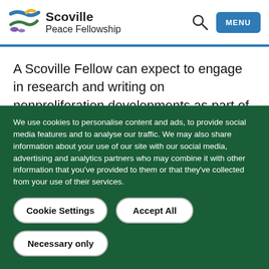Scoville Peace Fellowship
A Scoville Fellow can expect to engage in research and writing on nonproliferation developments as part of CNS projects led by senior staff and will also have the opportunity to pursue independent research, leading to one or more publications. In addition, a Fellow will
We use cookies to personalise content and ads, to provide social media features and to analyse our traffic. We may also share information about your use of our site with our social media, advertising and analytics partners who may combine it with other information that you've provided to them or that they've collected from your use of their services.
Cookie Settings
Accept All
Necessary only